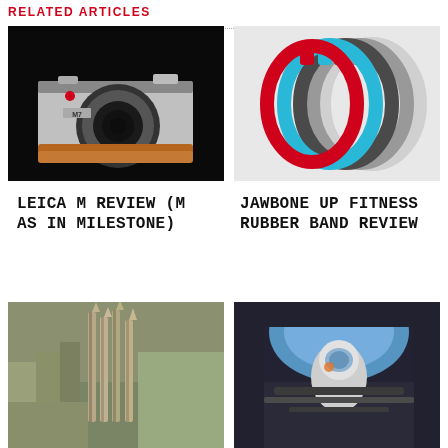RELATED ARTICLES
[Figure (photo): Leica M7 camera with brown leather case and silver lens on black background]
[Figure (photo): Jawbone UP fitness bands in multiple colors: red, dark gray, blue, gray, and white, fanned out]
LEICA M REVIEW (M AS IN MILESTONE)
JAWBONE UP FITNESS RUBBER BAND REVIEW
[Figure (photo): Aerial view of Sagrada Familia cathedral and surrounding Barcelona cityscape]
[Figure (photo): Person in space suit or pressure suit inside a capsule or aircraft cockpit, viewed from below]